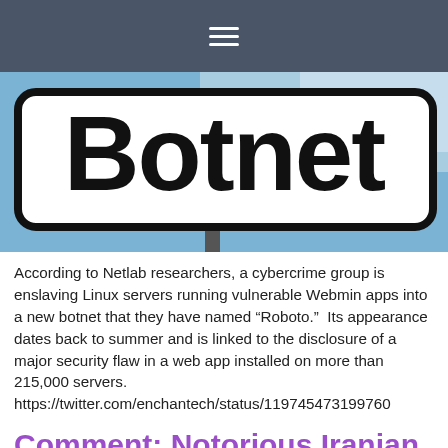≡
[Figure (photo): A street sign reading 'Botnet' in large bold black text on a white rectangular sign with rounded corners, against a blue sky background.]
According to Netlab researchers, a cybercrime group is enslaving Linux servers running vulnerable Webmin apps into a new botnet that they have named “Roboto.”  Its appearance dates back to summer and is linked to the disclosure of a major security flaw in a web app installed on more than 215,000 servers.
https://twitter.com/enchantech/status/119745473199760
Comment: Notorious Iranian